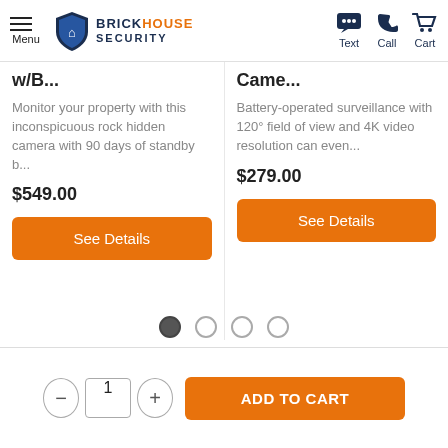BrickHouse Security — Menu | Text | Call | Cart
w/B...
Monitor your property with this inconspicuous rock hidden camera with 90 days of standby b...
$549.00
Came...
Battery-operated surveillance with 120° field of view and 4K video resolution can even...
$279.00
See Details (x2)
ADD TO CART